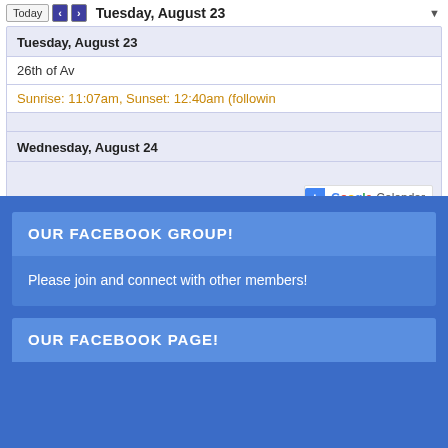Today | < | > | Tuesday, August 23 ▾
Tuesday, August 23
26th of Av
Sunrise: 11:07am, Sunset: 12:40am (followin
Wednesday, August 24
[Figure (screenshot): Google Calendar add button]
OUR FACEBOOK GROUP!
Please join and connect with other members!
OUR FACEBOOK PAGE!